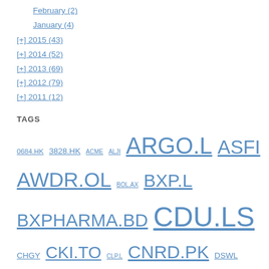February (2)
January (4)
[+] 2015 (43)
[+] 2014 (52)
[+] 2013 (69)
[+] 2012 (79)
[+] 2011 (12)
TAGS
0684.HK 3828.HK ACME ALJI ARGO.L ASFI AWDR.OL BOL.AX BXP.L BXPHARMA.BD CDU.LS CHGY CKI.TO CLP.L CNRD.PK DSWL EHL.AX FFP.PA GWSV MCGC MEAFR.AS MGX.DE NKBP NSPH ORGN.PK PDRX PRMW PVCS.L QFAL.MI QFDI.MI QFEI1.MI QFID.MI RELLA.CO RHDGF SALM SODI.OB STP SWY TJI.L TLI.L TRGP URB-A.TO URB.TO UTSI WH